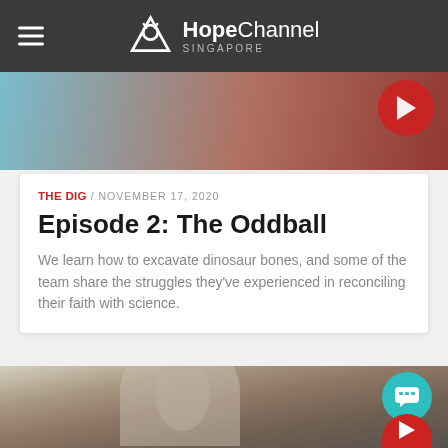Hope Channel SINGAPORE
[Figure (screenshot): Top thumbnail image area with colorful background]
THE DIG / NOVEMBER 17, 2020
Episode 2: The Oddball
We learn how to excavate dinosaur bones, and some of the team share the struggles they've experienced in reconciling their faith with science.
[Figure (photo): Photo of a middle-aged man with grey hair and glasses wearing a light-coloured shirt, seated indoors]